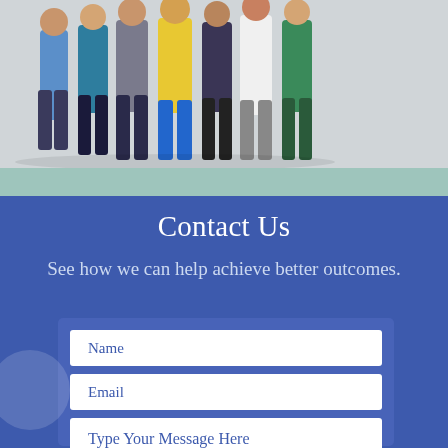[Figure (photo): Group of diverse medical and professional people standing together, including doctor in white coat and person in green scrubs]
Contact Us
See how we can help achieve better outcomes.
[Figure (infographic): Contact form with Name, Email, and Type Your Message Here input fields on a blue background]